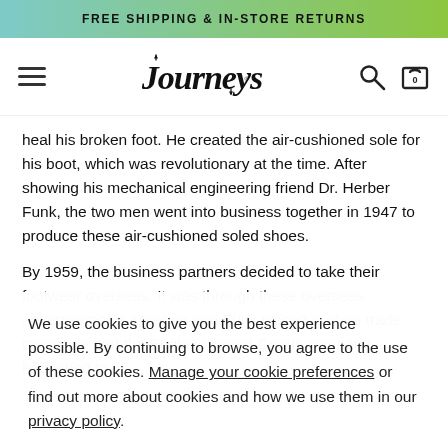FREE SHIPPING & IN-STORE RETURNS
[Figure (logo): Journeys store logo with hamburger menu, search icon, and cart icon (0)]
heal his broken foot. He created the air-cushioned sole for his boot, which was revolutionary at the time. After showing his mechanical engineering friend Dr. Herber Funk, the two men went into business together in 1947 to produce these air-cushioned soled shoes.
By 1959, the business partners decided to take their footwear overseas. It was through these overseas advertisements Maerten and Funk placed in shoe trade magazine that the England based Griggs company happened to
We use cookies to give you the best experience possible. By continuing to browse, you agree to the use of these cookies. Manage your cookie preferences or find out more about cookies and how we use them in our privacy policy.
I ACCEPT